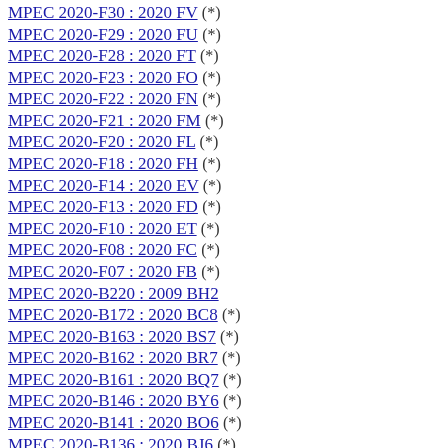MPEC 2020-F30 : 2020 FV (*)
MPEC 2020-F29 : 2020 FU (*)
MPEC 2020-F28 : 2020 FT (*)
MPEC 2020-F23 : 2020 FO (*)
MPEC 2020-F22 : 2020 FN (*)
MPEC 2020-F21 : 2020 FM (*)
MPEC 2020-F20 : 2020 FL (*)
MPEC 2020-F18 : 2020 FH (*)
MPEC 2020-F14 : 2020 EV (*)
MPEC 2020-F13 : 2020 FD (*)
MPEC 2020-F10 : 2020 ET (*)
MPEC 2020-F08 : 2020 FC (*)
MPEC 2020-F07 : 2020 FB (*)
MPEC 2020-B220 : 2009 BH2
MPEC 2020-B172 : 2020 BC8 (*)
MPEC 2020-B163 : 2020 BS7 (*)
MPEC 2020-B162 : 2020 BR7 (*)
MPEC 2020-B161 : 2020 BQ7 (*)
MPEC 2020-B146 : 2020 BY6 (*)
MPEC 2020-B141 : 2020 BO6 (*)
MPEC 2020-B136 : 2020 BJ6 (*)
MPEC 2020-B135 : 2020 BH6 (*)
MPEC 2020-B134 : 2020 BG6 (*)
MPEC 2020-B133 : 2020 BF6 (*)
MPEC 2020-B122 : 2020 BR5 (*)
MPEC 2020-B115 : 2020 BM5 (*)